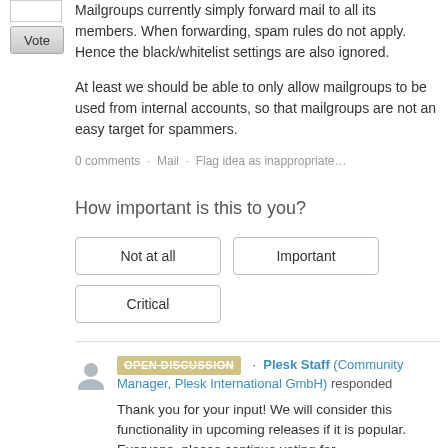Mailgroups currently simply forward mail to all its members. When forwarding, spam rules do not apply. Hence the black/whitelist settings are also ignored.

At least we should be able to only allow mailgroups to be used from internal accounts, so that mailgroups are not an easy target for spammers.
0 comments · Mail · Flag idea as inappropriate…
How important is this to you?
Not at all
Important
Critical
OPEN DISCUSSION · Plesk Staff (Community Manager, Plesk International GmbH) responded
Thank you for your input! We will consider this functionality in upcoming releases if it is popular. Everyone, please continue voting for